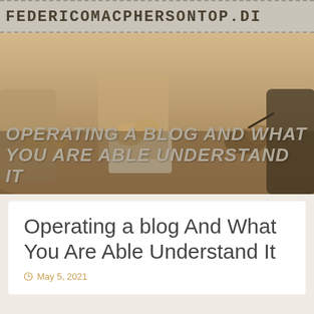FEDERICOMACPHERSONTOP.DI…
[Figure (photo): Sepia-toned photo of people sitting at a table, hands visible, one person holding a pen and papers, another with hands clasped. Business meeting scene.]
OPERATING A BLOG AND WHAT YOU ARE ABLE UNDERSTAND IT
Operating a blog And What You Are Able Understand It
May 5, 2021